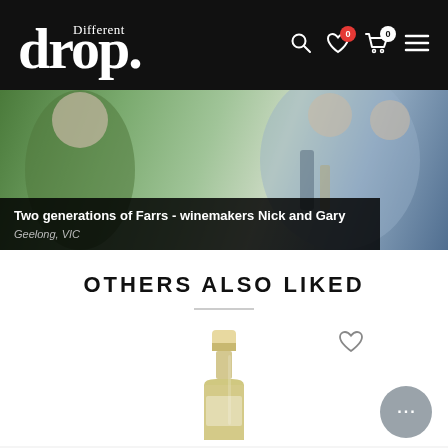Different drop.
[Figure (photo): Two people (winemakers Nick and Gary Farr) examining wine bottles outdoors in Geelong, VIC]
Two generations of Farrs - winemakers Nick and Gary
Geelong, VIC
OTHERS ALSO LIKED
[Figure (photo): Wine bottle with cream/ivory colored foil capsule top, partially visible]